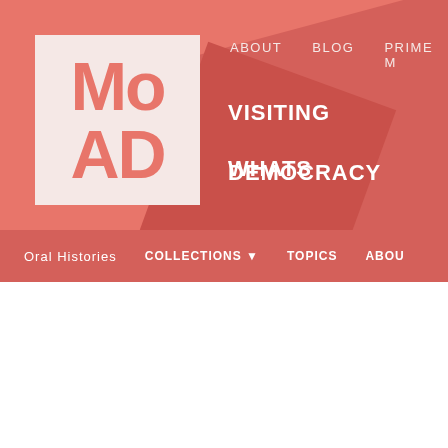[Figure (logo): MoAD (Museum of Australian Democracy) logo - salmon/coral colored letters on light pink background box, set within a coral/salmon colored header with geometric diagonal shapes]
ABOUT   BLOG   PRIME M   VISITING   WHATS   DEMOCRACY
Oral Histories   COLLECTIONS ▼   TOPICS   ABOU
Oral histories on the topic 'pete
Roger Martindale
Roger Martindale, born 1943 in England, Australia. He joined the Commonwealth